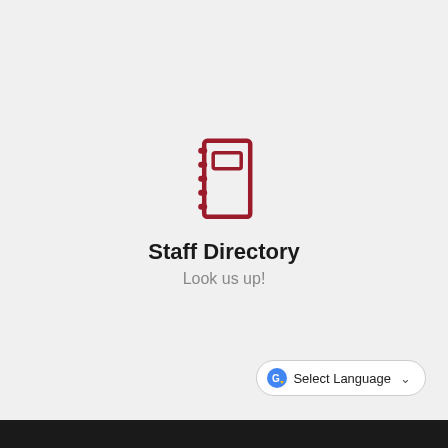[Figure (illustration): Red notebook/address book icon with spiral binding on the left side and a small rectangle on the cover, rendered in dark red/crimson color]
Staff Directory
Look us up!
Select Language